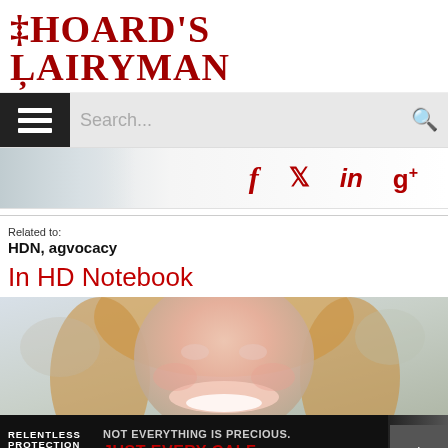Hoard's Dairyman
Search...
[Figure (screenshot): Social media share icons: Facebook (f), Twitter (bird), LinkedIn (in), Google+ (g+) in dark red/crimson color]
Related to:
HDN, agvocacy
In HD Notebook
[Figure (photo): Close-up photo of a smiling young woman with long blonde hair, blurred background]
[Figure (infographic): Advertisement banner: RELENTLESS PROTECTION by Pyramid. Text reads: NOT EVERYTHING IS PRECIOUS. JUST EVERY CALF. With image of a calf on right side.]